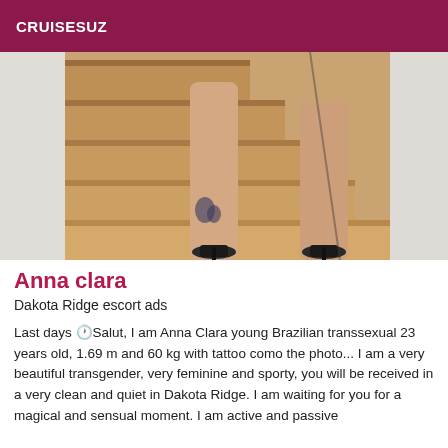CRUISESUZ
[Figure (photo): Photo of a person's legs in high heels standing on wooden stairs, with a tattoo visible on the left ankle.]
Anna clara
Dakota Ridge escort ads
Last days 🕐Salut, I am Anna Clara young Brazilian transsexual 23 years old, 1.69 m and 60 kg with tattoo como the photo... I am a very beautiful transgender, very feminine and sporty, you will be received in a very clean and quiet in Dakota Ridge. I am waiting for you for a magical and sensual moment. I am active and passive